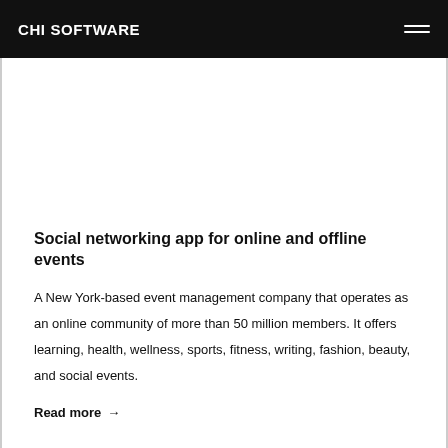CHI SOFTWARE
Social networking app for online and offline events
A New York-based event management company that operates as an online community of more than 50 million members. It offers learning, health, wellness, sports, fitness, writing, fashion, beauty, and social events.
Read more →